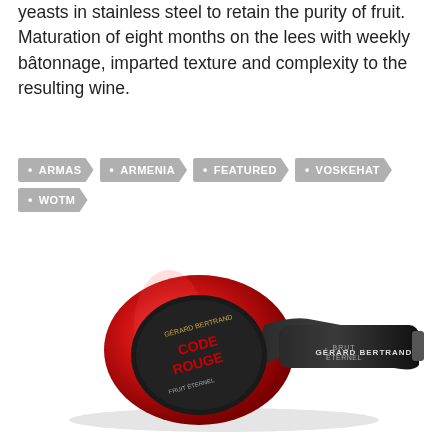yeasts in stainless steel to retain the purity of fruit. Maturation of eight months on the lees with weekly bâtonnage, imparted texture and complexity to the resulting wine.
ARMAS
ARMENIA
FEATURED
VOSKEHAT
WOTM
[Figure (photo): A red and black wine bottle (Gérard Bertrand Code Rouge Brut Éternel) lying horizontally, with a large round black label showing 'CODE ROUGE' and 'GERARD BERTRAND' text along the neck.]